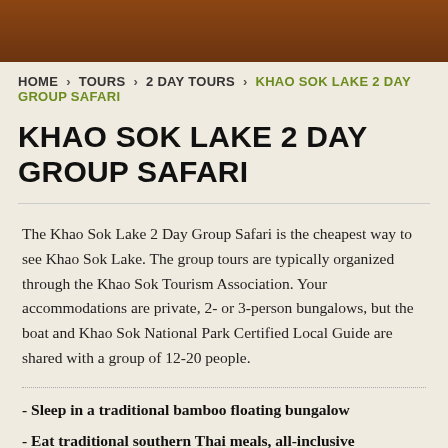HOME > TOURS > 2 DAY TOURS > KHAO SOK LAKE 2 DAY GROUP SAFARI
KHAO SOK LAKE 2 DAY GROUP SAFARI
The Khao Sok Lake 2 Day Group Safari is the cheapest way to see Khao Sok Lake. The group tours are typically organized through the Khao Sok Tourism Association. Your accommodations are private, 2- or 3-person bungalows, but the boat and Khao Sok National Park Certified Local Guide are shared with a group of 12-20 people.
- Sleep in a traditional bamboo floating bungalow
- Eat traditional southern Thai meals, all-inclusive
- See the world's oldest jungle on a lake safari